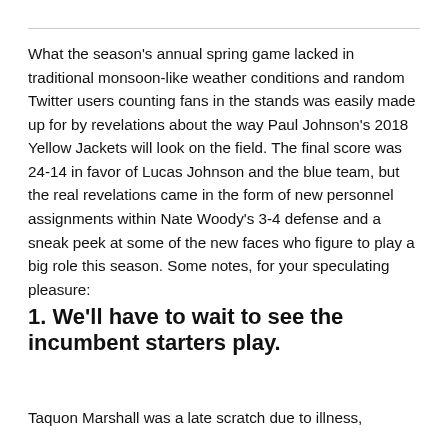What the season's annual spring game lacked in traditional monsoon-like weather conditions and random Twitter users counting fans in the stands was easily made up for by revelations about the way Paul Johnson's 2018 Yellow Jackets will look on the field. The final score was 24-14 in favor of Lucas Johnson and the blue team, but the real revelations came in the form of new personnel assignments within Nate Woody's 3-4 defense and a sneak peek at some of the new faces who figure to play a big role this season. Some notes, for your speculating pleasure:
1. We'll have to wait to see the incumbent starters play.
Taquon Marshall was a late scratch due to illness,